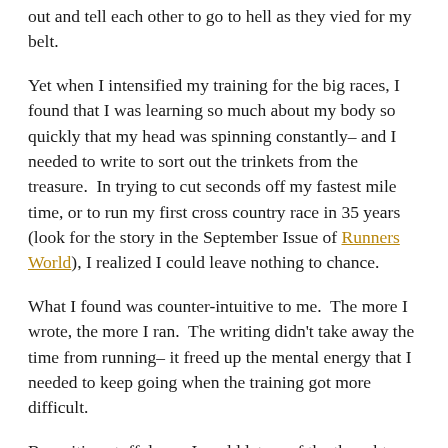out and tell each other to go to hell as they vied for my belt.
Yet when I intensified my training for the big races, I found that I was learning so much about my body so quickly that my head was spinning constantly– and I needed to write to sort out the trinkets from the treasure.  In trying to cut seconds off my fastest mile time, or to run my first cross country race in 35 years (look for the story in the September Issue of Runners World), I realized I could leave nothing to chance.
What I found was counter-intuitive to me.  The more I wrote, the more I ran.  The writing didn't take away the time from running– it freed up the mental energy that I needed to keep going when the training got more difficult.
By writing stuff down, I could let go of the thoughts and doubts and pain and not carry it around with on my runs any more.  Plus my writing gave me a magnifying glass to look at